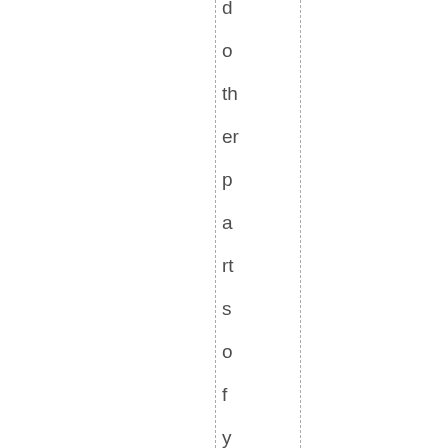d o th er p a rt s o f y o ur b o d y b